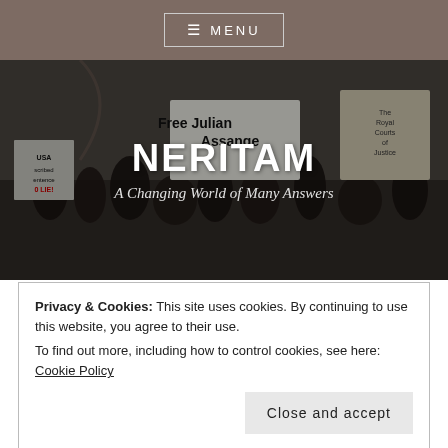☰ MENU
[Figure (photo): Protest crowd outside The Royal Courts of Justice holding signs including 'Free Julian Assange' with the site title NERITAM and subtitle 'A Changing World of Many Answers' overlaid]
NERITAM
A Changing World of Many Answers
Privacy & Cookies: This site uses cookies. By continuing to use this website, you agree to their use.
To find out more, including how to control cookies, see here: Cookie Policy
Close and accept
POLLUTION IS ONE